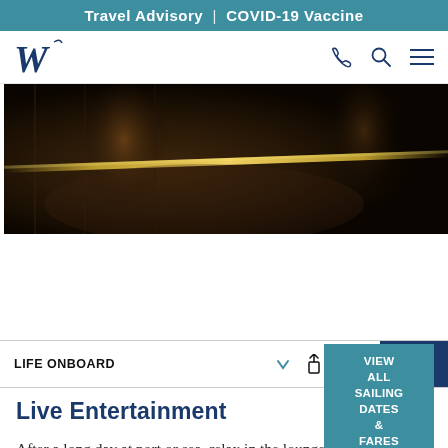Travel Advisory | COVID-19 Vaccine
[Figure (logo): Windstar Cruises W logo in navy blue, top left navigation bar]
[Figure (photo): Dark atmospheric photo of onboard live entertainment: musicians on a dimly lit stage with a gold/yellow light streak across the image]
VIEW ALL SAILING DATES & FARES
LIFE ONBOARD
SHARE
ADD TO WISH LIST
Live Entertainment
After a long day at port or sea, relax in the lounge and enjoy a drink while being entertained by our onboard